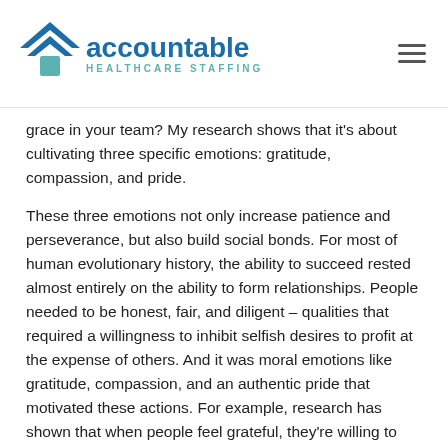accountable HEALTHCARE STAFFING
grace in your team? My research shows that it's about cultivating three specific emotions: gratitude, compassion, and pride.
These three emotions not only increase patience and perseverance, but also build social bonds. For most of human evolutionary history, the ability to succeed rested almost entirely on the ability to form relationships. People needed to be honest, fair, and diligent – qualities that required a willingness to inhibit selfish desires to profit at the expense of others. And it was moral emotions like gratitude, compassion, and an authentic pride that motivated these actions. For example, research has shown that when people feel grateful, they're willing to devote more effort to help others, to be loyal even at a cost to